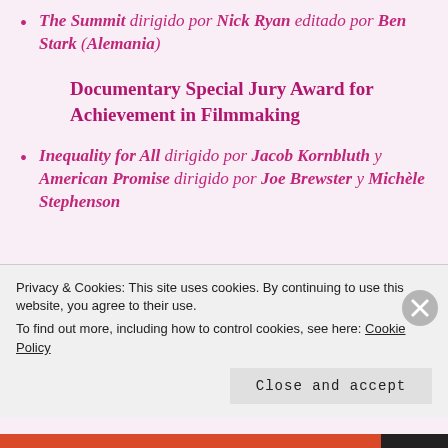The Summit dirigido por Nick Ryan editado por Ben Stark (Alemania)
Documentary Special Jury Award for Achievement in Filmmaking
Inequality for All dirigido por Jacob Kornbluth y American Promise dirigido por Joe Brewster y Michèle Stephenson
Privacy & Cookies: This site uses cookies. By continuing to use this website, you agree to their use. To find out more, including how to control cookies, see here: Cookie Policy